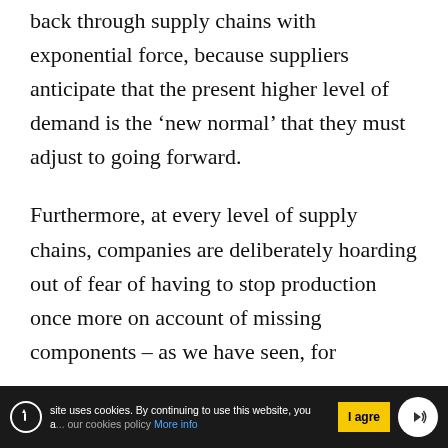back through supply chains with exponential force, because suppliers anticipate that the present higher level of demand is the 'new normal' that they must adjust to going forward.
Furthermore, at every level of supply chains, companies are deliberately hoarding out of fear of having to stop production once more on account of missing components – as we have seen, for
site uses cookies. By continuing to use this website, you a... our cookies policy More info  I agre...